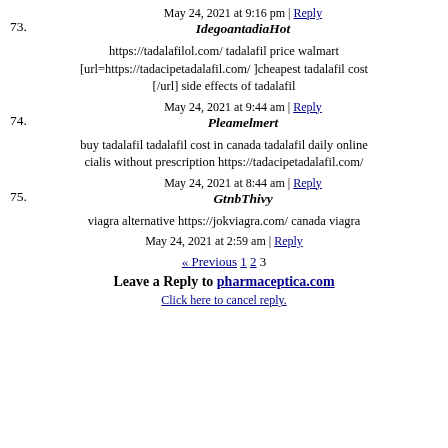May 24, 2021 at 9:16 pm | Reply
73. IdegoantadiaHot
https://tadalafilol.com/ tadalafil price walmart [url=https://tadacipetadalafil.com/ ]cheapest tadalafil cost [/url] side effects of tadalafil
May 24, 2021 at 9:44 am | Reply
74. Pleamelmert
buy tadalafil tadalafil cost in canada tadalafil daily online cialis without prescription https://tadacipetadalafil.com/
May 24, 2021 at 8:44 am | Reply
75. GtnbThivy
viagra alternative https://jokviagra.com/ canada viagra
May 24, 2021 at 2:59 am | Reply
« Previous 1 2 3
Leave a Reply to pharmaceptica.com
Click here to cancel reply.